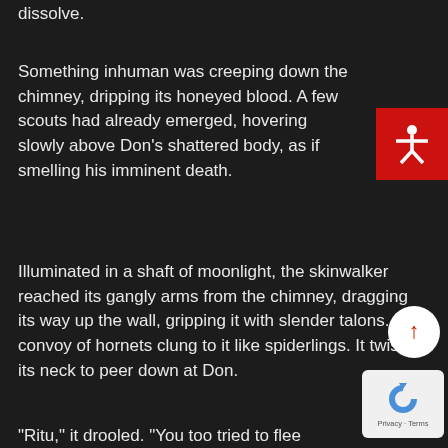dissolve.
Something inhuman was creeping down the chimney, dripping its honeyed blood. A few scouts had already emerged, hovering slowly above Don's shattered body, as if smelling his imminent death.
Illuminated in a shaft of moonlight, the skinwalker reached its gangly arms from the chimney, dragging its way up the wall, gripping it with slender talons. A convoy of hornets clung to it like spiderlings. It twisted its neck to peer down at Don.
“Ritu,” it drooled. “You too tried to flee
[Figure (infographic): Red accessibility icon button (white stick figure with arms outstretched on red background)]
[Figure (infographic): White circle scroll-to-top button with red upward arrow]
[Figure (infographic): Google reCAPTCHA widget with Privacy and Terms links]